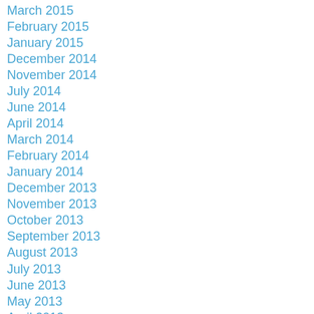March 2015
February 2015
January 2015
December 2014
November 2014
July 2014
June 2014
April 2014
March 2014
February 2014
January 2014
December 2013
November 2013
October 2013
September 2013
August 2013
July 2013
June 2013
May 2013
April 2013
March 2013